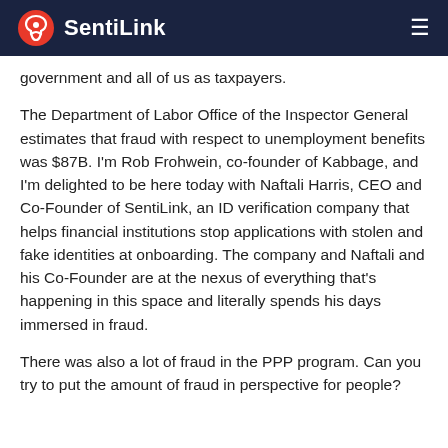SentiLink
government and all of us as taxpayers.
The Department of Labor Office of the Inspector General estimates that fraud with respect to unemployment benefits was $87B. I'm Rob Frohwein, co-founder of Kabbage, and I'm delighted to be here today with Naftali Harris, CEO and Co-Founder of SentiLink, an ID verification company that helps financial institutions stop applications with stolen and fake identities at onboarding. The company and Naftali and his Co-Founder are at the nexus of everything that's happening in this space and literally spends his days immersed in fraud.
There was also a lot of fraud in the PPP program. Can you try to put the amount of fraud in perspective for people?